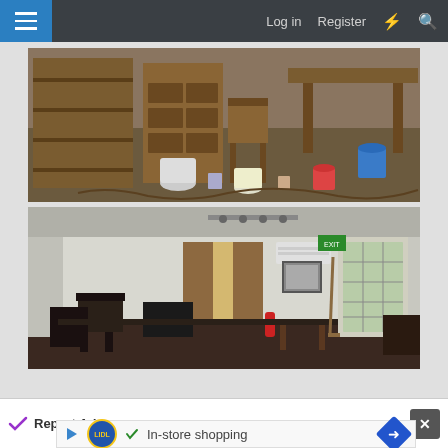Log in  Register
[Figure (photo): Interior of a cluttered, abandoned workshop or storage room with wooden shelving units, drawers, chairs, and various paint cans and buckets scattered across a dirty floor.]
[Figure (photo): Interior of an empty, dimly lit room with white walls, a curtained window, scattered furniture including chairs and tables, an air conditioning unit, exit sign, and a glass-panel door.]
Report Ad
In-store shopping